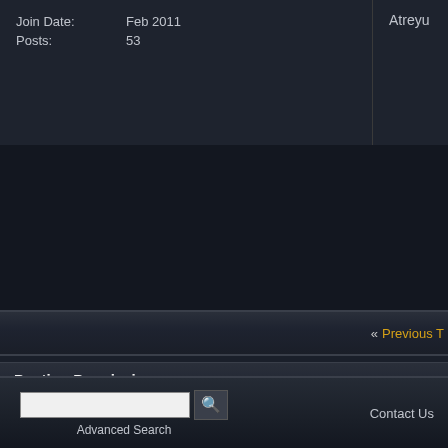| Join Date: | Feb 2011 |
| Posts: | 53 |
Atreyu
« Previous T
Posting Permissions
You may not post new threads
You may not post replies
You may not post attachments
You may not edit your posts
BB code is On
Smilies are On
[IMG] code is On
[VIDEO] code is Off
HTML code is Off
Forum Rules
Advanced Search   Contact Us